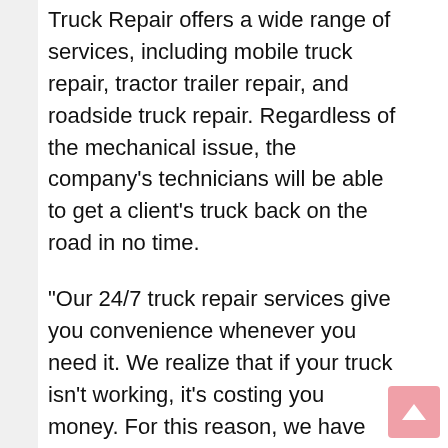Truck Repair offers a wide range of services, including mobile truck repair, tractor trailer repair, and roadside truck repair. Regardless of the mechanical issue, the company’s technicians will be able to get a client’s truck back on the road in no time.
“Our 24/7 truck repair services give you convenience whenever you need it. We realize that if your truck isn’t working, it’s costing you money. For this reason, we have equipped our mobile repair trucks with the latest tools and technology to be able to repair your vehicle quickly and efficiently.” Said the company representative.
Efficient delivery trucks are essential to the economy. When a truck breaks down, it can